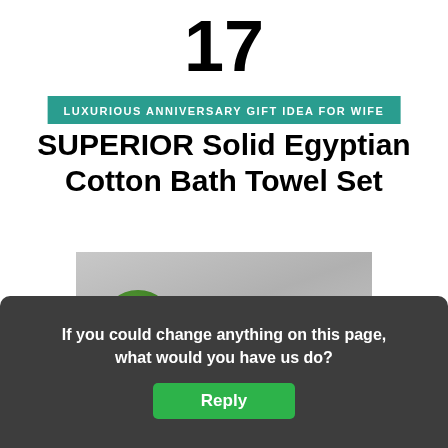17
LUXURIOUS ANNIVERSARY GIFT IDEA FOR WIFE
SUPERIOR Solid Egyptian Cotton Bath Towel Set
[Figure (photo): Photo of a bathroom shelf with a round green topiary plant, white soap dispenser, a rolled beige/tan towel, and dark decorative bowls on a gray background. A dark overlay panel with a downward arrow chevron button is partially covering the bottom of the image.]
If you could change anything on this page, what would you have us do?
Reply